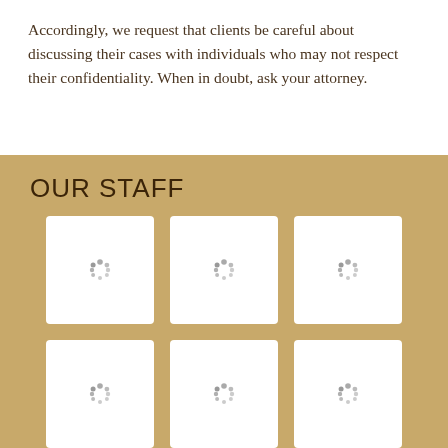Accordingly, we request that clients be careful about discussing their cases with individuals who may not respect their confidentiality. When in doubt, ask your attorney.
OUR STAFF
[Figure (other): A 3x2 grid of white staff photo placeholder cards on a gold background, each showing a loading spinner icon. Below the grid is an ON toggle button.]